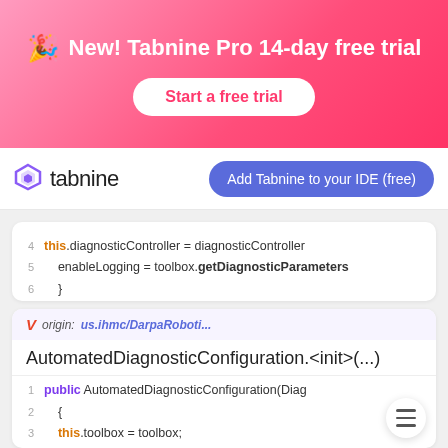[Figure (screenshot): Tabnine Pro 14-day free trial promotional banner with gradient pink background, party emoji, title text, and 'Start a free trial' button]
[Figure (screenshot): Tabnine navigation bar with tabnine logo on the left and 'Add Tabnine to your IDE (free)' button on the right]
this.diagnosticController = diagnosticController
enableLogging = toolbox.getDiagnosticParameters
}
origin: us.ihmc/DarpaRoboti...
AutomatedDiagnosticConfiguration.<init>(...)
public AutomatedDiagnosticConfiguration(Diag
{
this.toolbox = toolbox;